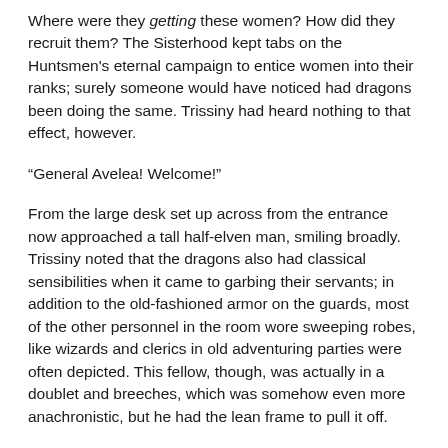Where were they getting these women? How did they recruit them? The Sisterhood kept tabs on the Huntsmen's eternal campaign to entice women into their ranks; surely someone would have noticed had dragons been doing the same. Trissiny had heard nothing to that effect, however.
“General Avelea! Welcome!”
From the large desk set up across from the entrance now approached a tall half-elven man, smiling broadly. Trissiny noted that the dragons also had classical sensibilities when it came to garbing their servants; in addition to the old-fashioned armor on the guards, most of the other personnel in the room wore sweeping robes, like wizards and clerics in old adventuring parties were often depicted. This fellow, though, was actually in a doublet and breeches, which was somehow even more anachronistic, but he had the lean frame to pull it off.